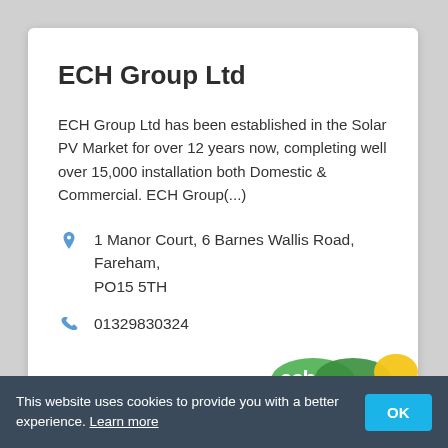ECH Group Ltd
ECH Group Ltd has been established in the Solar PV Market for over 12 years now, completing well over 15,000 installation both Domestic & Commercial. ECH Group(...)
1 Manor Court, 6 Barnes Wallis Road, Fareham, PO15 5TH
01329830324
[Figure (logo): ECH Group Ltd logo — green letters 'ech' with yellow circular element]
This website uses cookies to provide you with a better experience. Learn more
OK